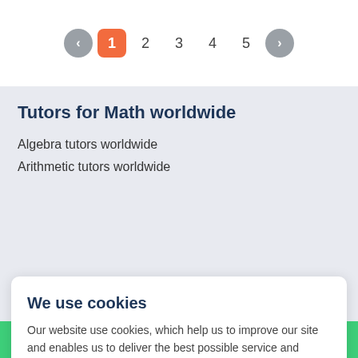« 1 2 3 4 5 »
Tutors for Math worldwide
Algebra tutors worldwide
Arithmetic tutors worldwide
We use cookies
Our website use cookies, which help us to improve our site and enables us to deliver the best possible service and customer experience. By clicking accept you are agreeing to our cookies policy. Find out more
Accept